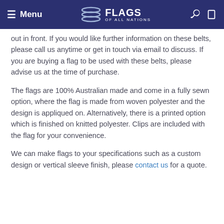Menu | FLAGS OF ALL NATIONS
out in front. If you would like further information on these belts, please call us anytime or get in touch via email to discuss. If you are buying a flag to be used with these belts, please advise us at the time of purchase.
The flags are 100% Australian made and come in a fully sewn option, where the flag is made from woven polyester and the design is appliqued on. Alternatively, there is a printed option which is finished on knitted polyester. Clips are included with the flag for your convenience.
We can make flags to your specifications such as a custom design or vertical sleeve finish, please contact us for a quote.